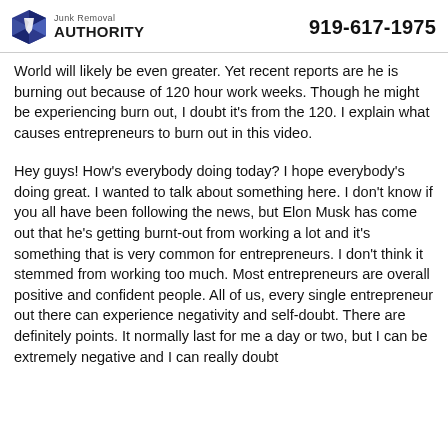Junk Removal AUTHORITY  919-617-1975
World will likely be even greater. Yet recent reports are he is burning out because of 120 hour work weeks. Though he might be experiencing burn out, I doubt it’s from the 120. I explain what causes entrepreneurs to burn out in this video.
Hey guys! How’s everybody doing today? I hope everybody’s doing great. I wanted to talk about something here. I don’t know if you all have been following the news, but Elon Musk has come out that he’s getting burnt-out from working a lot and it’s something that is very common for entrepreneurs. I don’t think it stemmed from working too much. Most entrepreneurs are overall positive and confident people. All of us, every single entrepreneur out there can experience negativity and self-doubt. There are definitely points. It normally last for me a day or two, but I can be extremely negative and I can really doubt